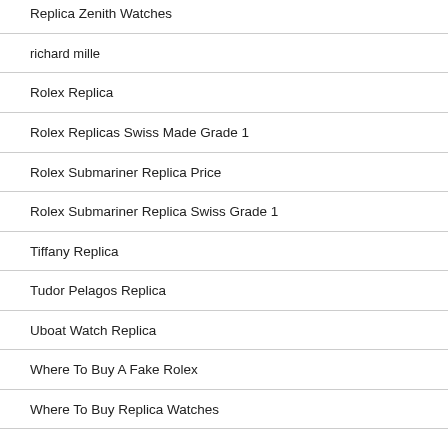Replica Zenith Watches
richard mille
Rolex Replica
Rolex Replicas Swiss Made Grade 1
Rolex Submariner Replica Price
Rolex Submariner Replica Swiss Grade 1
Tiffany Replica
Tudor Pelagos Replica
Uboat Watch Replica
Where To Buy A Fake Rolex
Where To Buy Replica Watches